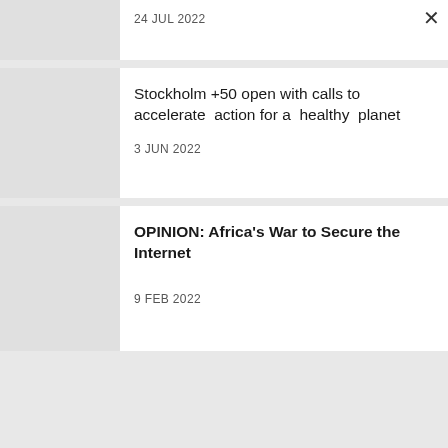24 JUL 2022
Stockholm +50 open with calls to accelerate action for a healthy planet
3 JUN 2022
OPINION: Africa's War to Secure the Internet
9 FEB 2022